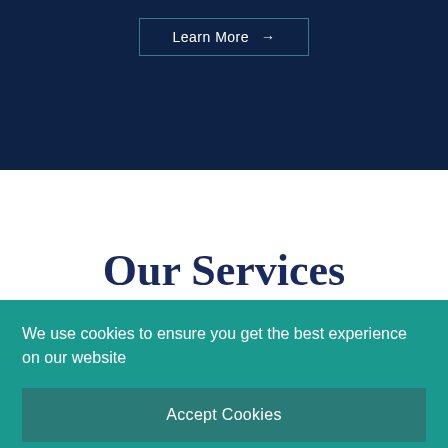Learn More →
Our Services
We use cookies to ensure you get the best experience on our website
Accept Cookies
Learn More